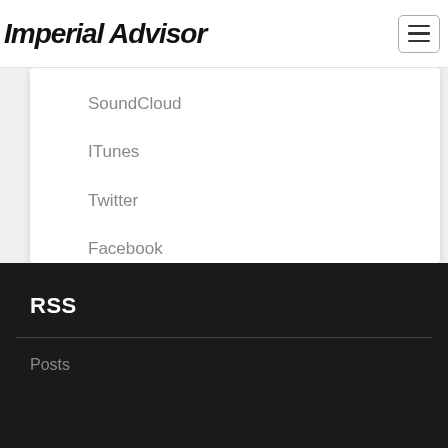Imperial Advisor
SoundCloud
ITunes
Twitter
Facebook
RSS
Posts